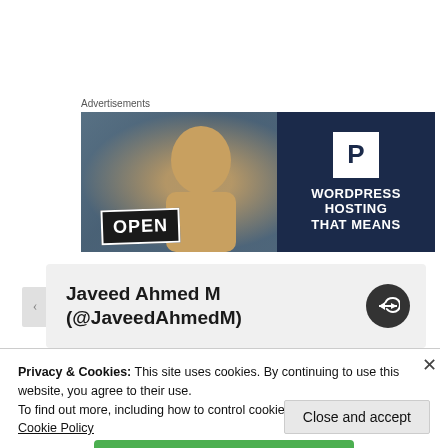Advertisements
[Figure (photo): Advertisement banner: left side shows a smiling woman holding an OPEN sign against a blurred store background; right side is dark navy with a white P logo and text 'WORDPRESS HOSTING THAT MEANS']
Javeed Ahmed M (@JaveedAhmedM)
Privacy & Cookies: This site uses cookies. By continuing to use this website, you agree to their use.
To find out more, including how to control cookies, see here: Cookie Policy
Close and accept